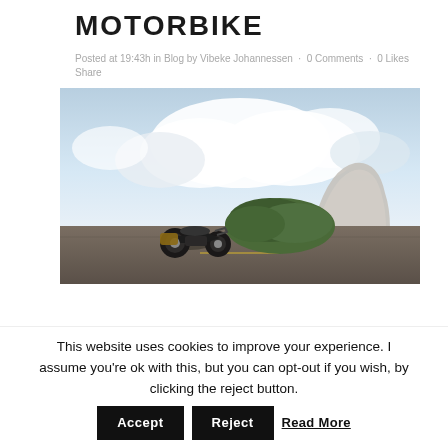MOTORBIKE
Posted at 19:43h in Blog by Vibeke Johannessen · 0 Comments · 0 Likes
Share
[Figure (photo): A motorbike parked on a road with a large bush/tree beside it, a dramatic rocky mountain (Half Dome-like) in the background and a cloudy sky above.]
This website uses cookies to improve your experience. I assume you're ok with this, but you can opt-out if you wish, by clicking the reject button. Accept Reject Read More